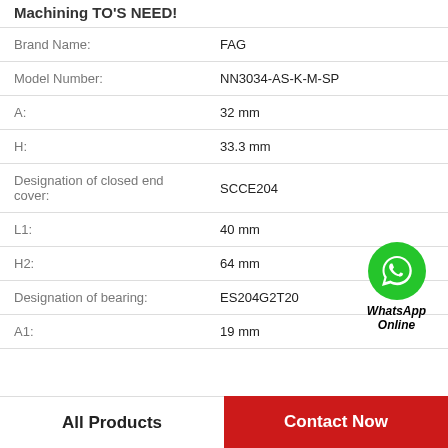Machining TO'S NEED!
| Property | Value |
| --- | --- |
| Brand Name: | FAG |
| Model Number: | NN3034-AS-K-M-SP |
| A: | 32 mm |
| H: | 33.3 mm |
| Designation of closed end cover: | SCCE204 |
| L1: | 40 mm |
| H2: | 64 mm |
| Designation of bearing: | ES204G2T20 |
| A1: | 19 mm |
[Figure (logo): WhatsApp Online green phone icon with text WhatsApp Online]
All Products
Contact Now